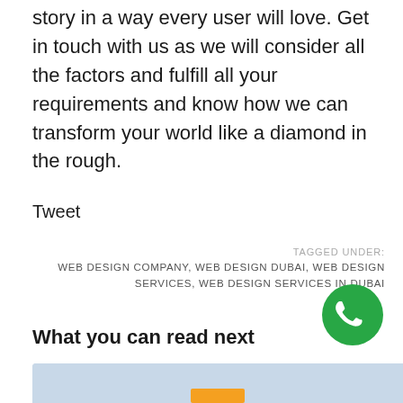story in a way every user will love. Get in touch with us as we will consider all the factors and fulfill all your requirements and know how we can transform your world like a diamond in the rough.
Tweet
TAGGED UNDER: WEB DESIGN COMPANY, WEB DESIGN DUBAI, WEB DESIGN SERVICES, WEB DESIGN SERVICES IN DUBAI
[Figure (illustration): Green circular phone/call button icon]
What you can read next
[Figure (illustration): Light blue image strip with orange bar element at bottom center]